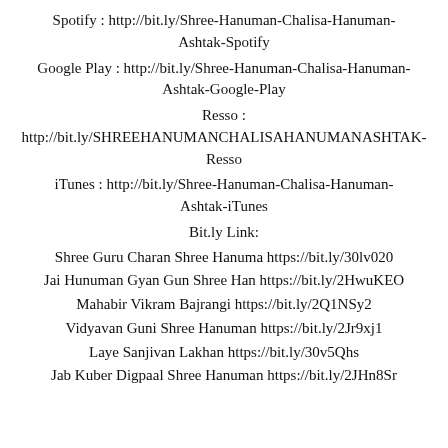Spotify : http://bit.ly/Shree-Hanuman-Chalisa-Hanuman-Ashtak-Spotify
Google Play : http://bit.ly/Shree-Hanuman-Chalisa-Hanuman-Ashtak-Google-Play
Resso : http://bit.ly/SHREEHANUMANCHALISAHANUMANASHTAK-Resso
iTunes : http://bit.ly/Shree-Hanuman-Chalisa-Hanuman-Ashtak-iTunes
Bit.ly Link:
Shree Guru Charan Shree Hanuma https://bit.ly/30lv020
Jai Hunuman Gyan Gun Shree Han https://bit.ly/2HwuKEO
Mahabir Vikram Bajrangi https://bit.ly/2Q1NSy2
Vidyavan Guni Shree Hanuman https://bit.ly/2Jr9xj1
Laye Sanjivan Lakhan https://bit.ly/30v5Qhs
Jab Kuber Digpaal Shree Hanuman https://bit.ly/2JHn8Sr